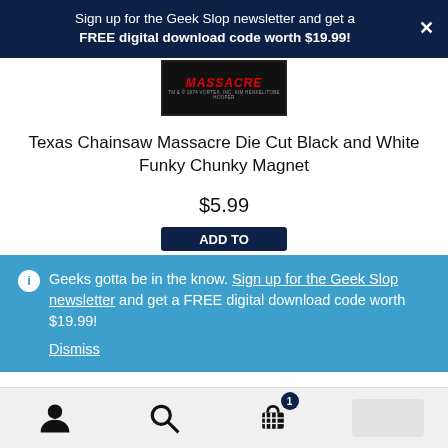Sign up for the Geek Slop newsletter and get a FREE digital download code worth $19.99!
[Figure (photo): Texas Chainsaw Massacre Funky Chunky Magnet product image showing red text on black background]
Texas Chainsaw Massacre Die Cut Black and White Funky Chunky Magnet
$5.99
ⓘ Geeks gotta be in the know. Sign up for the Geek Slop newsletter and get a FREE digital download code worth $19.99!
Dismiss